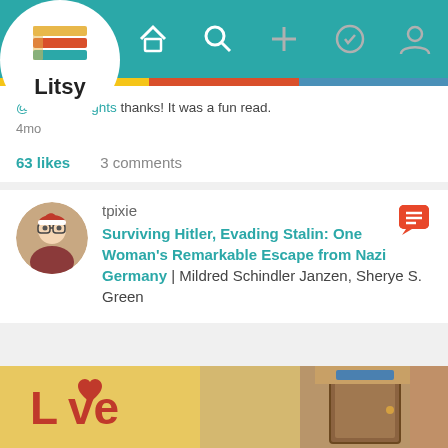[Figure (screenshot): Litsy app navigation bar with logo, home, search, add, activity, and profile icons on teal background]
@Cathythoughts thanks! It was a fun read.
4mo
63 likes   3 comments
tpixie
Surviving Hitler, Evading Stalin: One Woman's Remarkable Escape from Nazi Germany | Mildred Schindler Janzen, Sherye S. Green
[Figure (photo): Book cover or room photo with 'Love' text visible in red letters, a door, and warm interior lighting]